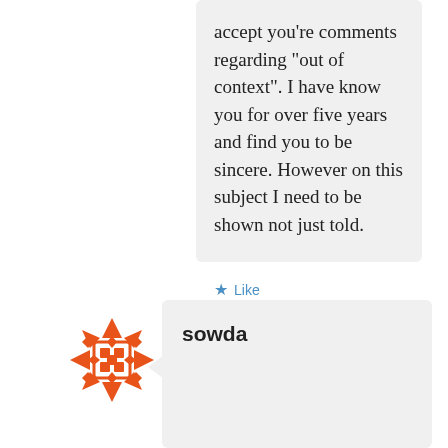accept you're comments regarding "out of context". I have know you for over five years and find you to be sincere. However on this subject I need to be shown not just told.
Like
FEBRUARY 8, 2011 AT 6:28 PM
REPLY
[Figure (logo): Orange geometric flower/mandala logo icon]
sowda